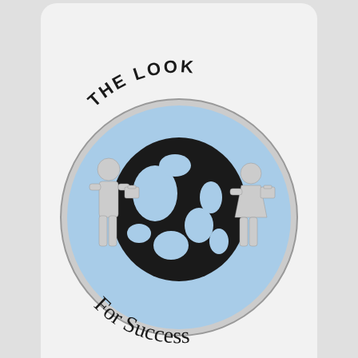[Figure (logo): The Look For Success circular logo with globe and silhouette figures, blue and black, text arching around circle]
Send Us Good News and Tips!
Send Us Positive Celebrity News, Tips & Photos!
The Hollywood List